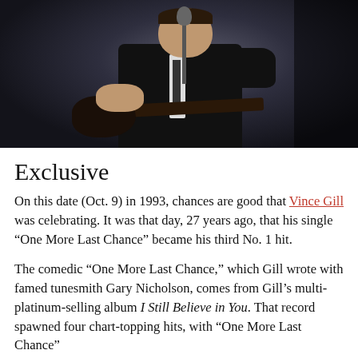[Figure (photo): A man in a dark jacket playing guitar at a microphone in a dark concert setting, appearing to be Vince Gill performing on stage.]
Exclusive
On this date (Oct. 9) in 1993, chances are good that Vince Gill was celebrating. It was that day, 27 years ago, that his single “One More Last Chance” became his third No. 1 hit.
The comedic “One More Last Chance,” which Gill wrote with famed tunesmith Gary Nicholson, comes from Gill’s multi-platinum-selling album I Still Believe in You. That record spawned four chart-topping hits, with “One More Last Chance”